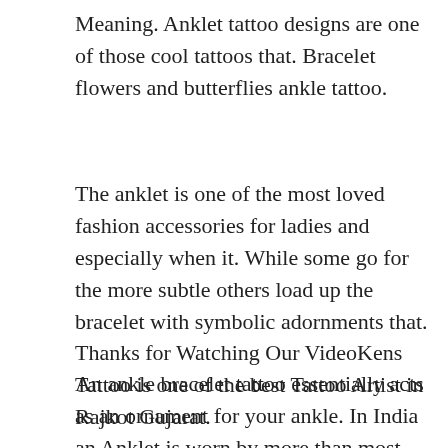Meaning. Anklet tattoo designs are one of those cool tattoos that. Bracelet flowers and butterflies ankle tattoo.
The anklet is one of the most loved fashion accessories for ladies and especially when it. While some go for the more subtle others load up the bracelet with symbolic adornments that. Thanks for Watching Our VideoKens Tattoo is one of the best Tattoo Artist in Rajkot Gujarat.
An ankle bracelet tattoo essentially acts as an ornament for your ankle. In India an Anklet is worn by more than most women as it